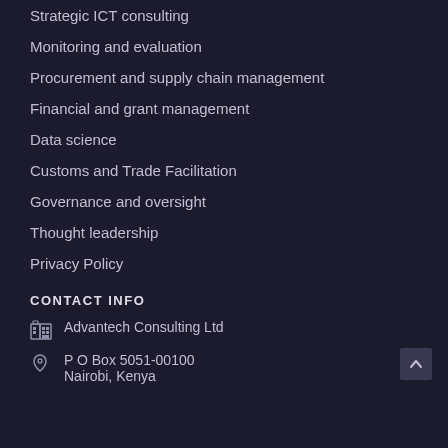Strategic ICT consulting
Monitoring and evaluation
Procurement and supply chain management
Financial and grant management
Data science
Customs and Trade Facilitation
Governance and oversight
Thought leadership
Privacy Policy
CONTACT INFO
Advantech Consulting Ltd
P O Box 5051-00100
Nairobi, Kenya